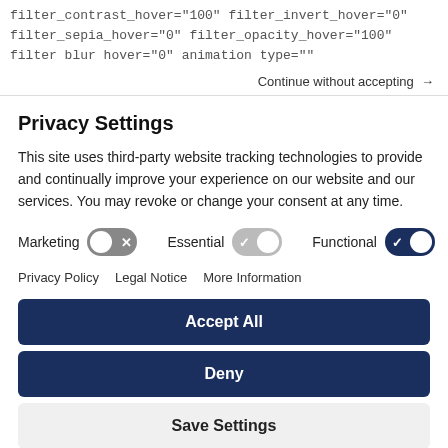filter_contrast_hover="100" filter_invert_hover="0" filter_sepia_hover="0" filter_opacity_hover="100" filter blur hover="0" animation type=""
Continue without accepting →
Privacy Settings
This site uses third-party website tracking technologies to provide and continually improve your experience on our website and our services. You may revoke or change your consent at any time.
Marketing [toggle off] Essential [toggle gray-on] Functional [toggle dark-on]
Privacy Policy   Legal Notice   More Information
Accept All
Deny
Save Settings
Powered by Usercentrics Consent Management